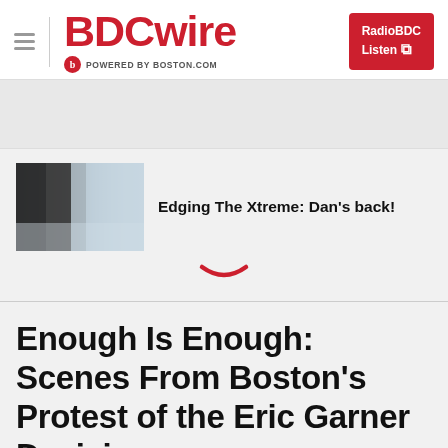BDCwire — POWERED BY BOSTON.COM — RadioBDC Listen
[Figure (photo): Thumbnail image of snowy/winter scene for article 'Edging The Xtreme: Dan's back!']
Edging The Xtreme: Dan's back!
Enough Is Enough: Scenes From Boston's Protest of the Eric Garner Decision